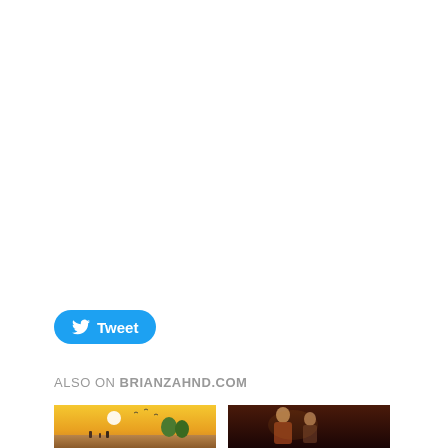[Figure (screenshot): Tweet button with Twitter bird icon]
ALSO ON BRIANZAHND.COM
[Figure (photo): Warm yellow-toned illustration showing figures on a road under a bright sun with birds]
[Figure (photo): Dark classical painting showing figures, resembling Rembrandt style with elderly and younger person]